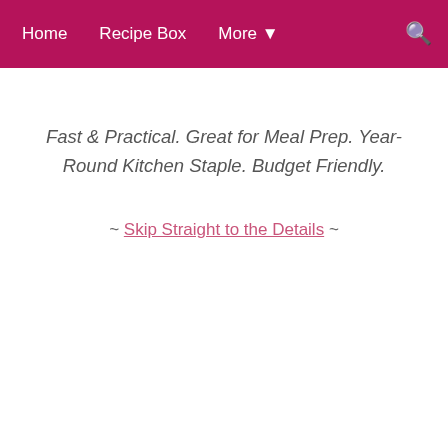Home  Recipe Box  More ▾  🔍
Fast & Practical. Great for Meal Prep. Year-Round Kitchen Staple. Budget Friendly.
~ Skip Straight to the Details ~